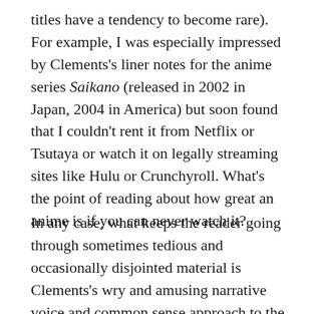titles have a tendency to become rare). For example, I was especially impressed by Clements's liner notes for the anime series Saikano (released in 2002 in Japan, 2004 in America) but soon found that I couldn't rent it from Netflix or Tsutaya or watch it on legally streaming sites like Hulu or Crunchyroll. What's the point of reading about how great an anime is if you can never watch it?
In any case, what keeps the reader going through sometimes tedious and occasionally disjointed material is Clements's wry and amusing narrative voice and common sense approach to the topic at hand. To illustrate this, I'd like to quote a paragraph from an essay